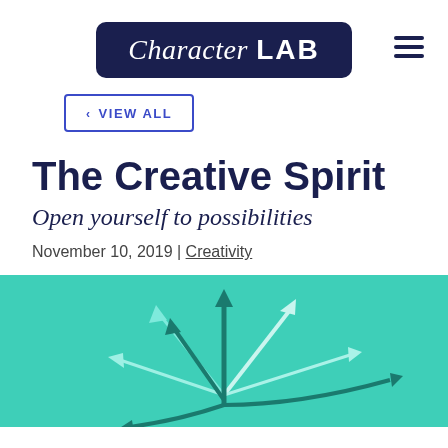Character LAB
< VIEW ALL
The Creative Spirit
Open yourself to possibilities
November 10, 2019 | Creativity
[Figure (illustration): Teal/mint green background with multiple arrows radiating outward in different directions — dark teal curved arrows and white/light arrows spreading from a central point, suggesting divergent thinking or creativity.]